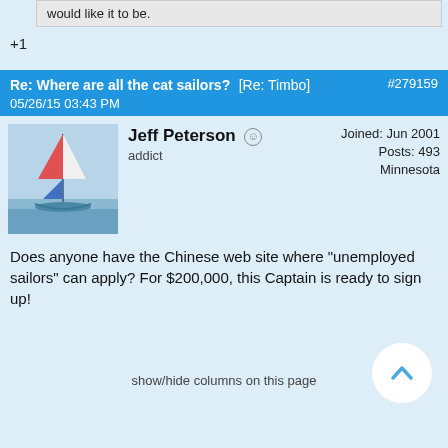would like it to be.
+1
Re: Where are all the cat sailors? [Re: Timbo] #279159 05/26/15 03:43 PM
Jeff Peterson  addict  Joined: Jun 2001  Posts: 493  Minnesota
Does anyone have the Chinese web site where "unemployed sailors" can apply? For $200,000, this Captain is ready to sign up!
show/hide columns on this page